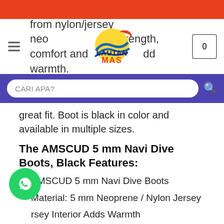LautanMas
from nylon/jersey neoprene for strength, comfort and to add warmth.
great fit. Boot is black in color and available in multiple sizes.
The AMSCUD 5 mm Navi Dive Boots, Black Features:
AMSCUD 5 mm Navi Dive Boots
Material: 5 mm Neoprene / Nylon Jersey
Jersey Interior Adds Warmth
Super Traction Hard Injected Molded